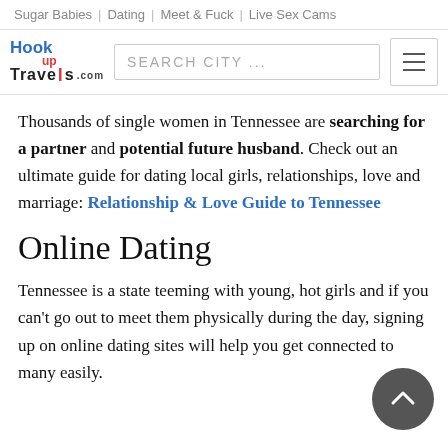Sugar Babies | Dating | Meet & Fuck | Live Sex Cams
[Figure (logo): Hook Up Travels logo with search bar and hamburger menu]
Thousands of single women in Tennessee are searching for a partner and potential future husband. Check out an ultimate guide for dating local girls, relationships, love and marriage: Relationship & Love Guide to Tennessee
Online Dating
Tennessee is a state teeming with young, hot girls and if you can't go out to meet them physically during the day, signing up on online dating sites will help you get connected to many easily.